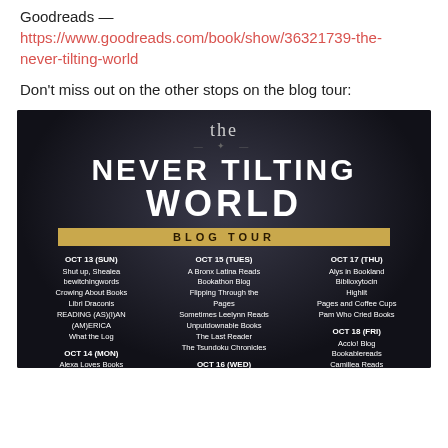Goodreads —
https://www.goodreads.com/book/show/36321739-the-never-tilting-world
Don't miss out on the other stops on the blog tour:
[Figure (infographic): The Never Tilting World Blog Tour promotional image with dark background showing blog tour schedule. OCT 13 (SUN): Shut up, Shealea / bewitchingwords / Crowing About Books / Libri Draconis / READING (AS)(I)AN (AM)ERICA / What the Log. OCT 14 (MON): Alexa Loves Books / Anxious Nachos. OCT 15 (TUES): A Bronx Latina Reads / Bookathon Blog / Flipping Through the Pages / Sometimes Leelynn Reads / Unputdownable Books / The Last Reader / The Tsundoku Chronicles. OCT 16 (WED): Artsy Draft. OCT 17 (THU): Alys in Bookland / Biblioxytocin / Highlit / Pages and Coffee Cups / Pam Who Cried Books. OCT 18 (FRI): Accio! Blog / Bookablereads / Camillea Reads / Celuna Maria.]